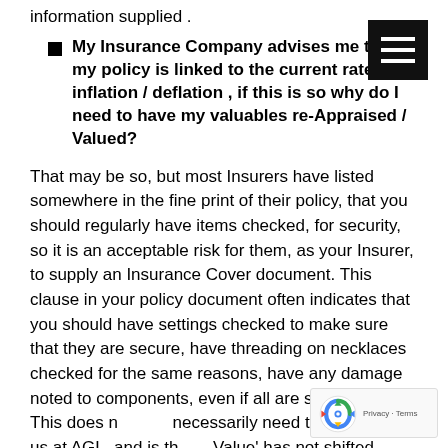information supplied .
My Insurance Company advises me that my policy is linked to the current rate of inflation / deflation , if this is so why do I need to have my valuables re-Appraised / Valued?
That may be so, but most Insurers have listed somewhere in the fine print of their policy, that you should regularly have items checked, for security, so it is an acceptable risk for them, as your Insurer, to supply an Insurance Cover document. This clause in your policy document often indicates that you should have settings checked to make sure that they are secure, have threading on necklaces checked for the same reasons, have any damage noted to components, even if all are still secure. This does not necessarily need to be done by us at AGL, and is the Value' has not shifted sufficiently to have it reappraised, then a minor charge is made for a